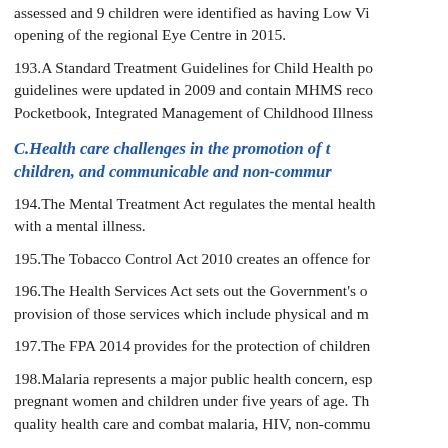assessed and 9 children were identified as having Low Vi opening of the regional Eye Centre in 2015.
193.A Standard Treatment Guidelines for Child Health po guidelines were updated in 2009 and contain MHMS reco Pocketbook, Integrated Management of Childhood Illness
C.Health care challenges in the promotion of t children, and communicable and non-commur
194.The Mental Treatment Act regulates the mental health with a mental illness.
195.The Tobacco Control Act 2010 creates an offence for
196.The Health Services Act sets out the Government's o provision of those services which include physical and m
197.The FPA 2014 provides for the protection of children
198.Malaria represents a major public health concern, esp pregnant women and children under five years of age. Th quality health care and combat malaria, HIV, non-commu
Malaria death associated with per 100,000 por